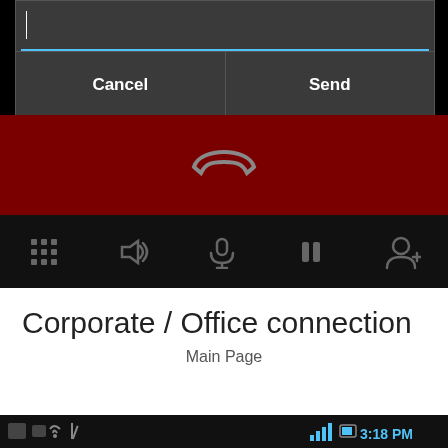[Figure (screenshot): Android phone screen showing a DTMF/send message dialog with Cancel and Send buttons over a dark background, a red end-call bar with a phone hang-up icon in the center, and a black controls bar showing icons for keypad, speaker, microphone, hold/pause, and add contact.]
Corporate / Office connection
Main Page
[Figure (screenshot): Bottom status bar of Android phone showing time 3:18 PM, battery, signal strength, and various notification icons.]